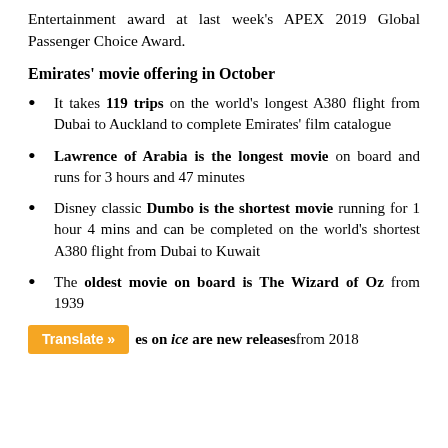Entertainment award at last week's APEX 2019 Global Passenger Choice Award.
Emirates' movie offering in October
It takes 119 trips on the world's longest A380 flight from Dubai to Auckland to complete Emirates' film catalogue
Lawrence of Arabia is the longest movie on board and runs for 3 hours and 47 minutes
Disney classic Dumbo is the shortest movie running for 1 hour 4 mins and can be completed on the world's shortest A380 flight from Dubai to Kuwait
The oldest movie on board is The Wizard of Oz from 1939
es on ice are new releases from 2018